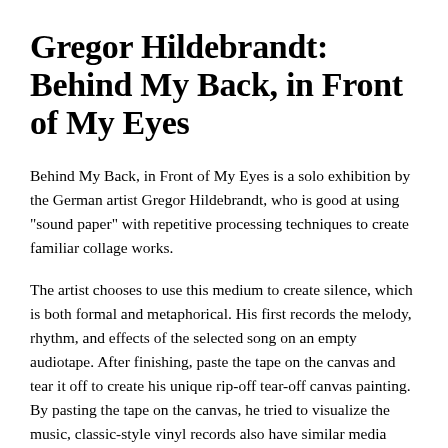Gregor Hildebrandt: Behind My Back, in Front of My Eyes
Behind My Back, in Front of My Eyes is a solo exhibition by the German artist Gregor Hildebrandt, who is good at using "sound paper" with repetitive processing techniques to create familiar collage works.
The artist chooses to use this medium to create silence, which is both formal and metaphorical. His first records the melody, rhythm, and effects of the selected song on an empty audiotape. After finishing, paste the tape on the canvas and tear it off to create his unique rip-off tear-off canvas painting. By pasting the tape on the canvas, he tried to visualize the music, classic-style vinyl records also have similar media characteristics to tapes. When they are used to carry audio, all reflect a kind of temporality. He repeatedly recorded his favorite singles on the tape over and over again, thus inspiring nostalgic memories in